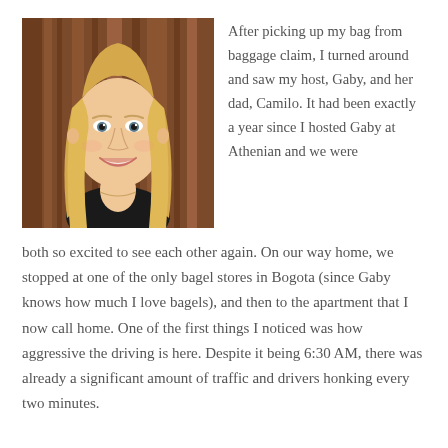[Figure (photo): Portrait photo of a young blonde woman smiling, wearing a black top and necklace, with a blurred brown wooden background.]
After picking up my bag from baggage claim, I turned around and saw my host, Gaby, and her dad, Camilo. It had been exactly a year since I hosted Gaby at Athenian and we were both so excited to see each other again. On our way home, we stopped at one of the only bagel stores in Bogota (since Gaby knows how much I love bagels), and then to the apartment that I now call home. One of the first things I noticed was how aggressive the driving is here. Despite it being 6:30 AM, there was already a significant amount of traffic and drivers honking every two minutes.